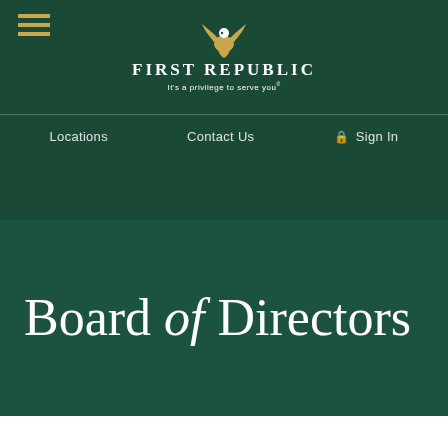First Republic — It's a privilege to serve you®
Locations   Contact Us   Sign In
Board of Directors